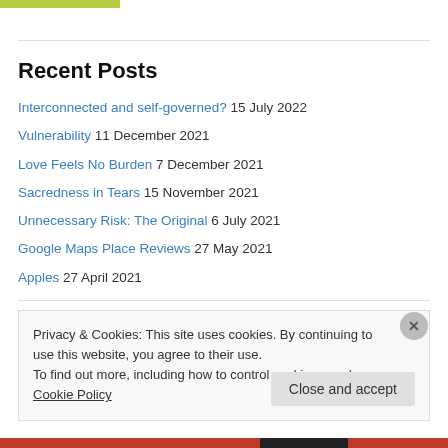[Figure (other): Green banner bar at top]
Recent Posts
Interconnected and self-governed? 15 July 2022
Vulnerability 11 December 2021
Love Feels No Burden 7 December 2021
Sacredness in Tears 15 November 2021
Unnecessary Risk: The Original 6 July 2021
Google Maps Place Reviews 27 May 2021
Apples 27 April 2021
Privacy & Cookies: This site uses cookies. By continuing to use this website, you agree to their use. To find out more, including how to control cookies, see here: Cookie Policy
Close and accept